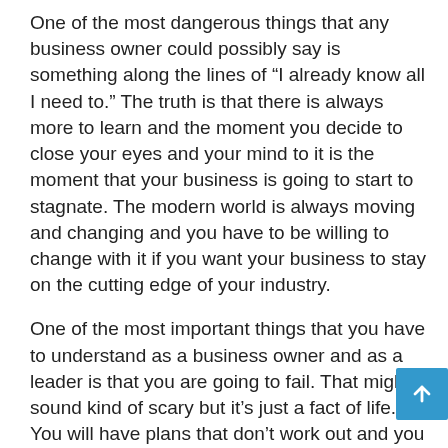One of the most dangerous things that any business owner could possibly say is something along the lines of "I already know all I need to." The truth is that there is always more to learn and the moment you decide to close your eyes and your mind to it is the moment that your business is going to start to stagnate. The modern world is always moving and changing and you have to be willing to change with it if you want your business to stay on the cutting edge of your industry.
One of the most important things that you have to understand as a business owner and as a leader is that you are going to fail. That might sound kind of scary but it's just a fact of life. You will have plans that don't work out and you will make mistakes. The real test of a business leader is how they respond to that. You need to be able to learn from that experience and move forward rather than just giving up at the first sign of trouble.